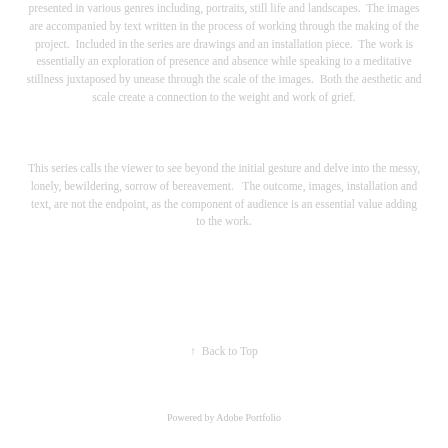presented in various genres including, portraits, still life and landscapes.  The images are accompanied by text written in the process of working through the making of the project.  Included in the series are drawings and an installation piece.  The work is essentially an exploration of presence and absence while speaking to a meditative stillness juxtaposed by unease through the scale of the images.  Both the aesthetic and scale create a connection to the weight and work of grief.
This series calls the viewer to see beyond the initial gesture and delve into the messy, lonely, bewildering, sorrow of bereavement.   The outcome, images, installation and text, are not the endpoint, as the component of audience is an essential value adding to the work.
↑  Back to Top
Powered by Adobe Portfolio